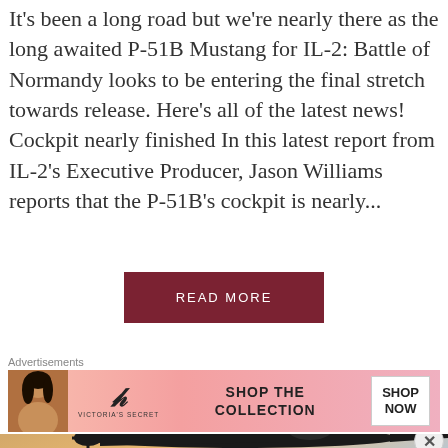It's been a long road but we're nearly there as the long awaited P-51B Mustang for IL-2: Battle of Normandy looks to be entering the final stretch towards release. Here's all of the latest news! Cockpit nearly finished In this latest report from IL-2's Executive Producer, Jason Williams reports that the P-51B's cockpit is nearly...
READ MORE
[Figure (photo): IL-2 Sturmovik game screenshot showing a WWII aircraft silhouette against a warm sunset sky with hues of orange, gold and blue. IL-2 STURMOVIK GREAT BATTLES logo visible in upper right corner. A close/dismiss button visible in lower right.]
Advertisements
[Figure (other): Victoria's Secret advertisement banner with pink gradient background featuring a woman model on the left, Victoria's Secret logo with ornate V symbol in center, text 'SHOP THE COLLECTION' in bold, and a white 'SHOP NOW' button on the right.]